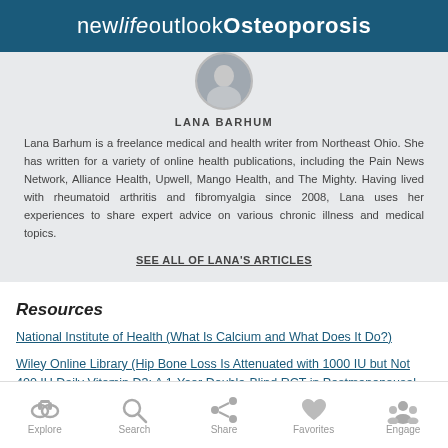new life outlook Osteoporosis
LANA BARHUM
Lana Barhum is a freelance medical and health writer from Northeast Ohio. She has written for a variety of online health publications, including the Pain News Network, Alliance Health, Upwell, Mango Health, and The Mighty. Having lived with rheumatoid arthritis and fibromyalgia since 2008, Lana uses her experiences to share expert advice on various chronic illness and medical topics.
SEE ALL OF LANA'S ARTICLES
Resources
National Institute of Health (What Is Calcium and What Does It Do?)
Wiley Online Library (Hip Bone Loss Is Attenuated with 1000 IU but Not 400 IU Daily Vitamin D3: A 1-Year Double-Blind RCT in Postmenopausal Women)
Explore  Search  Share  Favorites  Engage